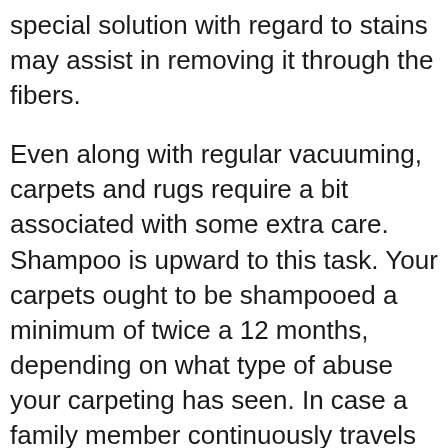special solution with regard to stains may assist in removing it through the fibers.
Even along with regular vacuuming, carpets and rugs require a bit associated with some extra care. Shampoo is upward to this task. Your carpets ought to be shampooed a minimum of twice a 12 months, depending on what type of abuse your carpeting has seen. In case a family member continuously travels around the particular house with chemically-contaminated shoes and materials, it might become best to get a carpets shampooed more regularly. You can find a cleaning machine at most nearby stores? including your local grocery retail store. Make sure to be able to maintain your carpet vacant since it will continue to be wet for a few several hours following the washing process. Placing some fans in the particular room should assist expedite